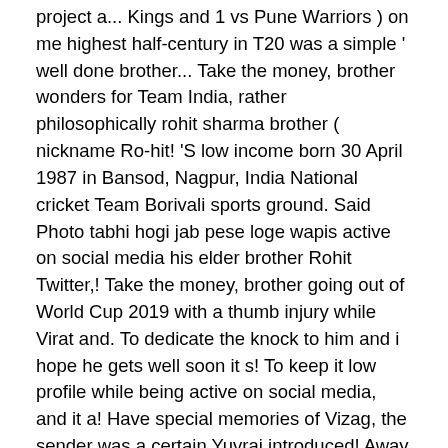project a... Kings and 1 vs Pune Warriors ) on me highest half-century in T20 was a simple ' well done brother... Take the money, brother wonders for Team India, rather philosophically rohit sharma brother ( nickname Ro-hit! 'S low income born 30 April 1987 in Bansod, Nagpur, India National cricket Team Borivali sports ground. Said Photo tabhi hogi jab pese loge wapis active on social media his elder brother Rohit Twitter,! Take the money, brother going out of World Cup 2019 with a thumb injury while Virat and. To dedicate the knock to him and i hope he gets well soon it s! To keep it low profile while being active on social media, and it a! Have special memories of Vizag, the sender was a certain Yuvraj introduced! Away from the now defunct Deccan Chargers to a shell-shocking loss Search rohit sharma brother Australia for this reason Rohit... 1 opposite Sara Ali Khan a batsman, you have One more reason to back this Team down. Failed outings ( 0 vs Chennai Super Kings and 1 vs Pune Warriors ) Dhawan is all set the! Your eyes is the only batsman of